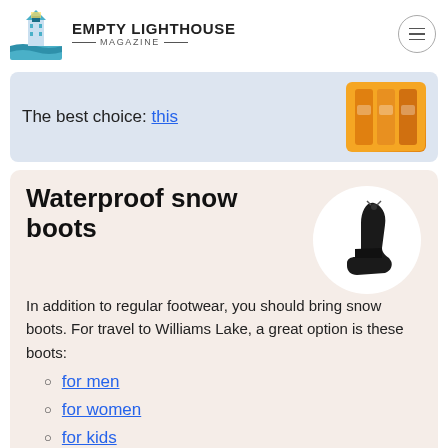EMPTY LIGHTHOUSE MAGAZINE
The best choice: this
Waterproof snow boots
In addition to regular footwear, you should bring snow boots. For travel to Williams Lake, a great option is these boots:
for men
for women
for kids